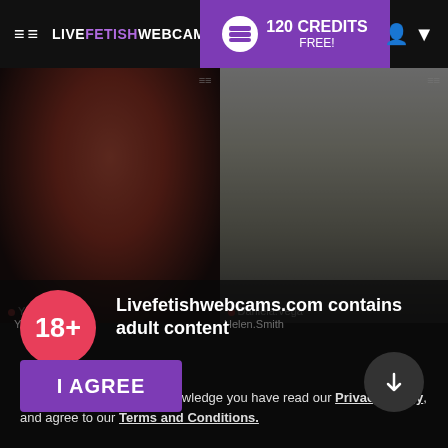≡≡ LIVEFETISHWEBCAMS | 120 CREDITS FREE!
[Figure (screenshot): Two webcam model thumbnails side by side. Left: woman with red hair in black outfit. Right: woman in black dress standing in a room.]
Yorba_Sisath
Daniela.Vega
Livefetishwebcams.com contains adult content
By using the site, you acknowledge you have read our Privacy Policy, and agree to our Terms and Conditions.
We use cookies to optimize your experience, analyze traffic, and deliver more personalized service. To learn more, please see our Privacy Policy.
I AGREE